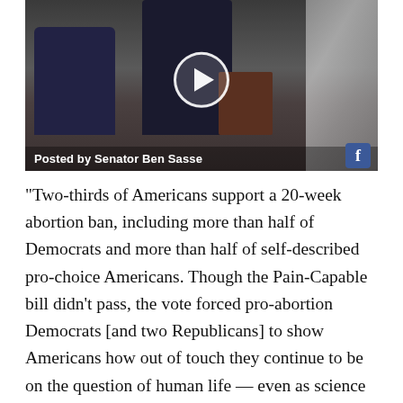[Figure (screenshot): Facebook video screenshot showing a man in a dark suit speaking at a podium with another person seated nearby, in what appears to be a Senate chamber. A play button overlay is visible in the center. Caption reads 'Posted by Senator Ben Sasse' with a Facebook icon in the lower right.]
“Two-thirds of Americans support a 20-week abortion ban, including more than half of Democrats and more than half of self-described pro-choice Americans. Though the Pain-Capable bill didn’t pass, the vote forced pro-abortion Democrats [and two Republicans] to show Americans how out of touch they continue to be on the question of human life — even as science and technology prove them wrong.” [Source: